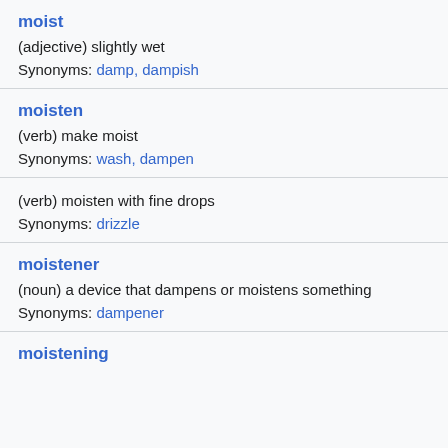moist
(adjective) slightly wet
Synonyms: damp, dampish
moisten
(verb) make moist
Synonyms: wash, dampen
(verb) moisten with fine drops
Synonyms: drizzle
moistener
(noun) a device that dampens or moistens something
Synonyms: dampener
moistening